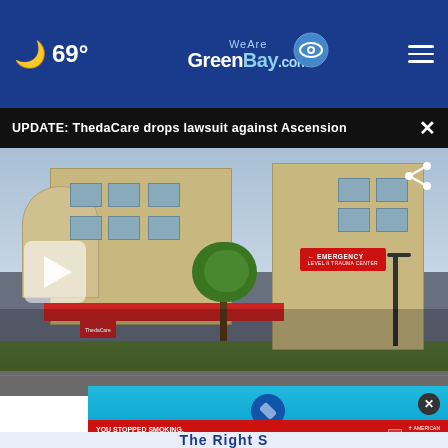69° WeAreGreenBay.com
UPDATE: ThedaCare drops lawsuit against Ascension
[Figure (photo): Hospital building exterior showing ThedaCare facility with Emergency sign and play button overlay for video]
[Figure (screenshot): Advertisement overlay with close button showing American Lung Association ad: YOU STOPPED SMOKING. NOW STOP LUNG CANCER. Get SAVEDBYASCAM.ORG]
The Right S...